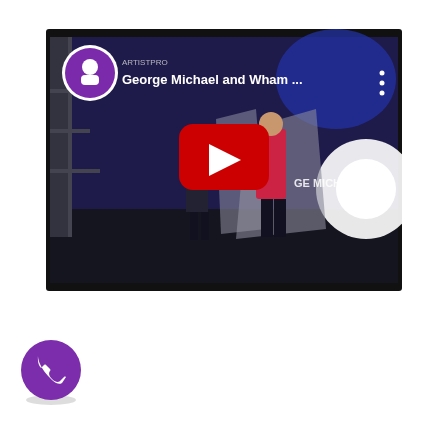[Figure (screenshot): YouTube video thumbnail showing a concert performance titled 'George Michael and Wham ...' with a red YouTube play button overlay. The video shows performers on a stage with blue lighting and a bright spotlight. The channel logo (Artistpro) is shown in the top left with a purple circular icon.]
[Figure (other): Purple circular phone/call button icon (Viber or similar messaging app) in the bottom left area of the page.]